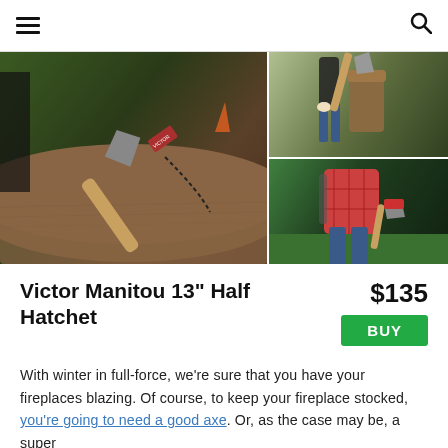☰  🔍
[Figure (photo): Product photo collage: left side shows a Victor Manitou hatchet resting on a log in a forest setting; top right shows a person chopping wood with an axe; bottom right shows a person in flannel shirt holding a hatchet outdoors.]
Victor Manitou 13" Half Hatchet
$135
BUY
With winter in full-force, we're sure that you have your fireplaces blazing. Of course, to keep your fireplace stocked, you're going to need a good axe. Or, as the case may be, a super